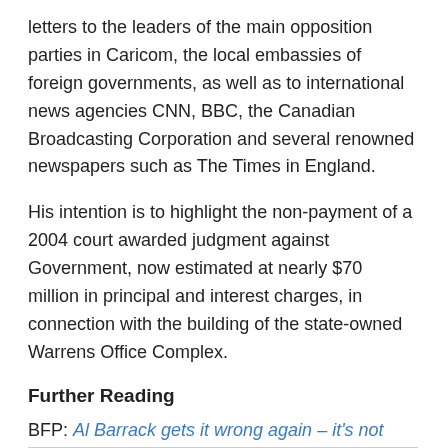letters to the leaders of the main opposition parties in Caricom, the local embassies of foreign governments, as well as to international news agencies CNN, BBC, the Canadian Broadcasting Corporation and several renowned newspapers such as The Times in England.
His intention is to highlight the non-payment of a 2004 court awarded judgment against Government, now estimated at nearly $70 million in principal and interest charges, in connection with the building of the state-owned Warrens Office Complex.
Further Reading
BFP: Al Barrack gets it wrong again – it's not racism, it's business as usual